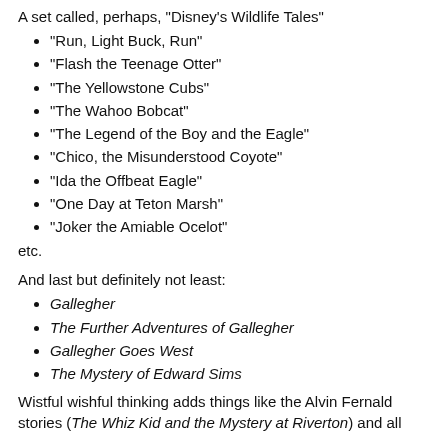A set called, perhaps, "Disney's Wildlife Tales"
"Run, Light Buck, Run"
"Flash the Teenage Otter"
"The Yellowstone Cubs"
"The Wahoo Bobcat"
"The Legend of the Boy and the Eagle"
"Chico, the Misunderstood Coyote"
"Ida the Offbeat Eagle"
"One Day at Teton Marsh"
"Joker the Amiable Ocelot"
etc.
And last but definitely not least:
Gallegher
The Further Adventures of Gallegher
Gallegher Goes West
The Mystery of Edward Sims
Wistful wishful thinking adds things like the Alvin Fernald stories (The Whiz Kid and the Mystery at Riverton) and all